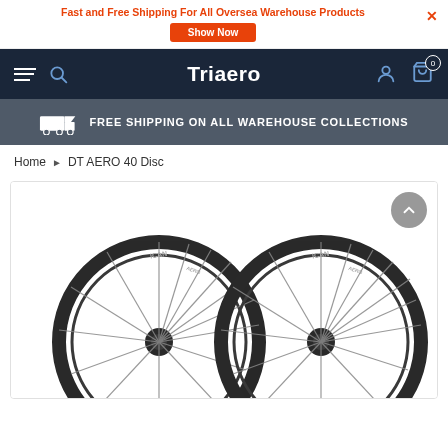Fast and Free Shipping For All Oversea Warehouse Products
Triaero
FREE SHIPPING ON ALL WAREHOUSE COLLECTIONS
Home › DT AERO 40 Disc
[Figure (photo): Two ICAN carbon disc brake road bicycle wheels shown side by side on white background]